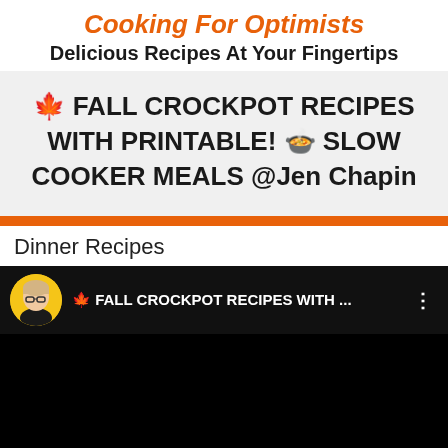Cooking For Optimists
Delicious Recipes At Your Fingertips
🍁 FALL CROCKPOT RECIPES WITH PRINTABLE! 🍲 SLOW COOKER MEALS @Jen Chapin
Dinner Recipes
[Figure (screenshot): YouTube video player showing FALL CROCKPOT RECIPES WITH ... with channel avatar and black video area]